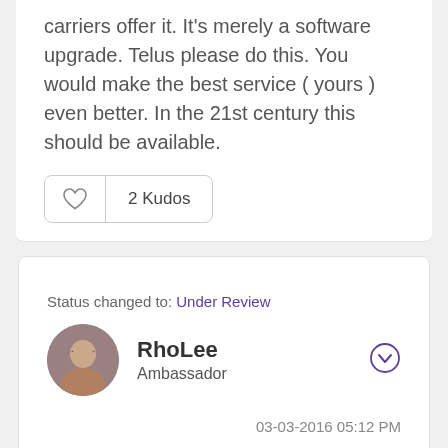carriers offer it. It's merely a software upgrade. Telus please do this. You would make the best service ( yours ) even better. In the 21st century this should be available.
[Figure (other): Kudos button with heart icon showing 2 Kudos]
Status changed to: Under Review
RhoLee
Ambassador
03-03-2016 05:12 PM
03-03-2016 05:12 PM